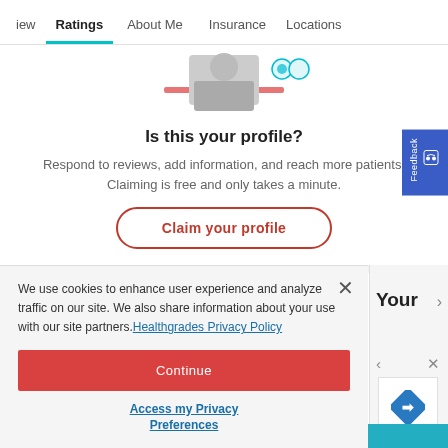iew  Ratings  About Me  Insurance  Locations
[Figure (photo): Partial doctor profile photo with pink/teal accent elements]
Is this your profile?
Respond to reviews, add information, and reach more patients. Claiming is free and only takes a minute.
Claim your profile
We use cookies to enhance user experience and analyze traffic on our site. We also share information about your use with our site partners. Healthgrades Privacy Policy
Continue
Access my Privacy Preferences
Your
5 Surprising Causes of Sensitive Teeth